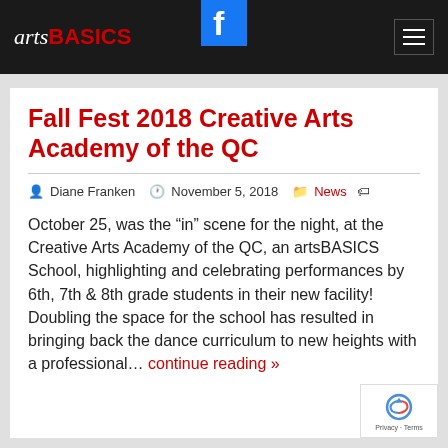arts BASICS | Facebook icon | Hamburger menu
Fall Fest 2018 Creative Arts Academy of the QC
Diane Franken   November 5, 2018   News
October 25, was the “in” scene for the night, at the Creative Arts Academy of the QC, an artsBASICS School, highlighting and celebrating performances by 6th, 7th & 8th grade students in their new facility! Doubling the space for the school has resulted in bringing back the dance curriculum to new heights with a professional… continue reading »